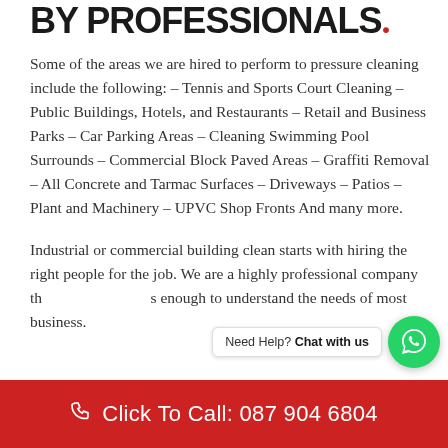BY PROFESSIONALS.
Some of the areas we are hired to perform to pressure cleaning include the following: – Tennis and Sports Court Cleaning – Public Buildings, Hotels, and Restaurants – Retail and Business Parks – Car Parking Areas – Cleaning Swimming Pool Surrounds – Commercial Block Paved Areas – Graffiti Removal – All Concrete and Tarmac Surfaces – Driveways – Patios – Plant and Machinery – UPVC Shop Fronts And many more.
Industrial or commercial building clean starts with hiring the right people for the job. We are a highly professional company th... enough to understand the needs of most business.
[Figure (other): WhatsApp chat widget with green button and 'Need Help? Chat with us' bubble]
Click To Call: 087 904 6804